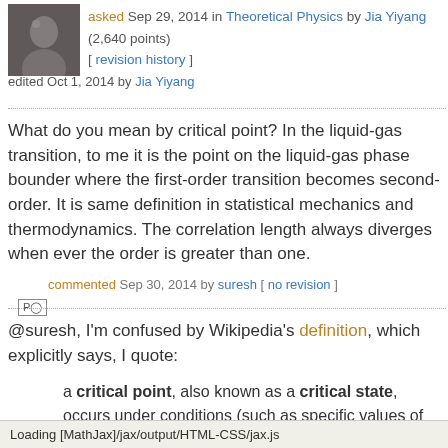[Figure (photo): User avatar photo thumbnail]
asked Sep 29, 2014 in Theoretical Physics by Jia Yiyang (2,640 points) [ revision history ]
edited Oct 1, 2014 by Jia Yiyang
What do you mean by critical point? In the liquid-gas transition, to me it is the point on the liquid-gas phase bounder where the first-order transition becomes second-order. It is same definition in statistical mechanics and thermodynamics. The correlation length always diverges when ever the order is greater than one.
commented Sep 30, 2014 by suresh [ no revision ]
@suresh, I'm confused by Wikipedia's definition, which explicitly says, I quote:
a critical point, also known as a critical state, occurs under conditions (such as specific values of temperature, pressure or other boundaries